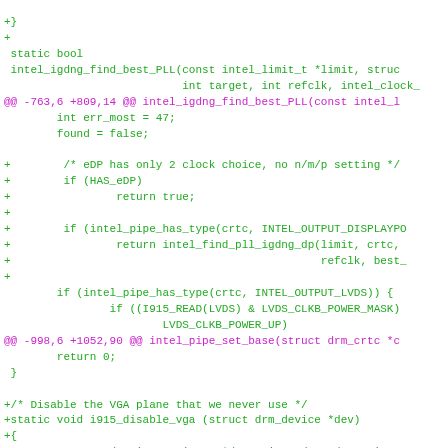Code diff showing changes to intel_igdng_find_best_PLL and intel_pipe_set_base functions